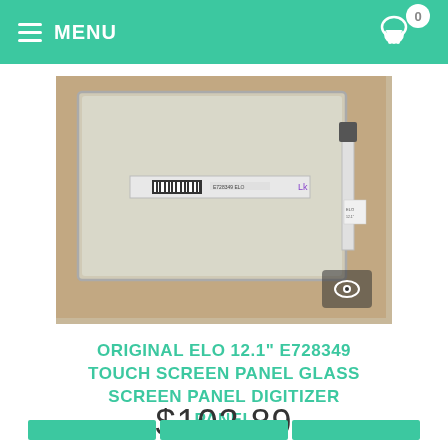MENU
[Figure (photo): A transparent touch screen glass digitizer panel for ELO 12.1 inch, shown laid flat on a brown surface with a connector ribbon cable.]
ORIGINAL ELO 12.1" E728349 TOUCH SCREEN PANEL GLASS SCREEN PANEL DIGITIZER PANEL
$102.89